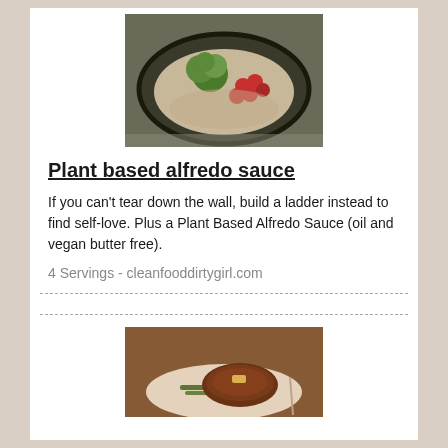[Figure (photo): A dark bowl of pasta with broccoli and cherry tomatoes, alfredo sauce, photographed from above]
Plant based alfredo sauce
If you can't tear down the wall, build a ladder instead to find self-love. Plus a Plant Based Alfredo Sauce (oil and vegan butter free).
4 Servings - cleanfooddirtygirl.com
[Figure (photo): A plate with a grilled meat dish and green beans, warm tones, restaurant style photo]